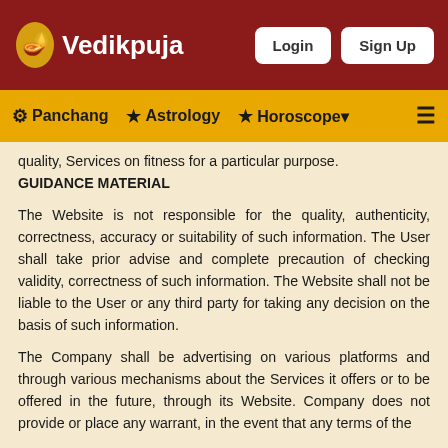Vedikpuja | Login | Sign Up
Panchang | Astrology | Horoscope
quality, Services on fitness for a particular purpose. GUIDANCE MATERIAL
The Website is not responsible for the quality, authenticity, correctness, accuracy or suitability of such information. The User shall take prior advise and complete precaution of checking validity, correctness of such information. The Website shall not be liable to the User or any third party for taking any decision on the basis of such information.
The Company shall be advertising on various platforms and through various mechanisms about the Services it offers or to be offered in the future, through its Website. Company does not provide or place any warrant, in the event that any terms of the